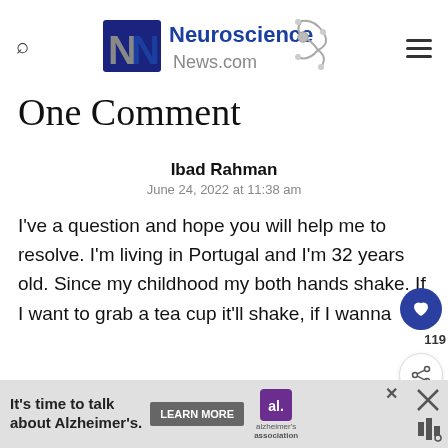Neuroscience News.com
One Comment
Ibad Rahman
June 24, 2022 at 11:38 am
I've a question and hope you will help me to resolve. I'm living in Portugal and I'm 32 years old. Since my childhood my both hands shake. If I want to grab a tea cup it'll shake, if I wanna ty... ba... he...
It's time to talk about Alzheimer's. LEARN MORE